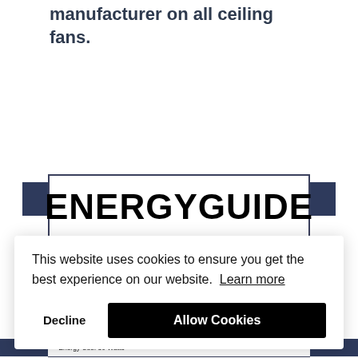Lifetime warranty is offered by the manufacturer on all ceiling fans.
[Figure (other): ENERGYGUIDE label logo with dark navy side tabs on left and right]
This website uses cookies to ensure you get the best experience on our website. Learn more
Decline
Allow Cookies
• Energy Use: 30 Watts